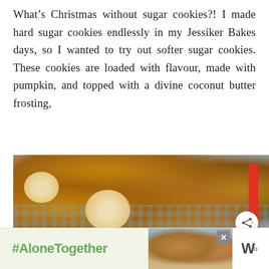What's Christmas without sugar cookies?! I made hard sugar cookies endlessly in my Jessiker Bakes days, so I wanted to try out softer sugar cookies. These cookies are loaded with flavour, made with pumpkin, and topped with a divine coconut butter frosting,
[Figure (photo): Overhead photo of pumpkin sugar cookies with coconut butter frosting on a blue and white checkered cloth and wire cooling rack, with a red decorative arrow/bookmark on the right side and a share button overlay]
[Figure (photo): Advertisement banner for #AloneTogether campaign showing two people waving, with a Wattpad logo on the right]